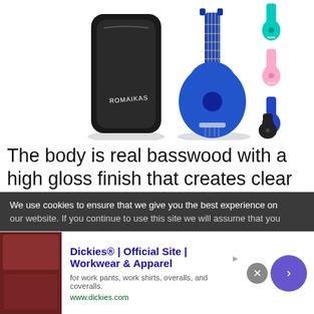[Figure (photo): Product photo showing a blue ukulele with a black gig bag (branded ROMAIKAS) and smaller ukuleles in teal, pink, blue, and black colors on the right side]
The body is real basswood with a high gloss finish that creates clear melodic sounds. This item has 12 frets on the hardwood fingerboard that produces
We use cookies to ensure that we give you the best experience on our website. If you continue to use this site we will assume that you
[Figure (screenshot): Advertisement for Dickies® | Official Site | Workwear & Apparel - for work pants, work shirts, overalls, and coveralls. www.dickies.com]